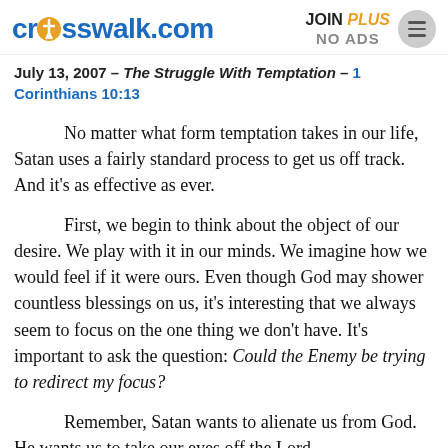crosswalk.com | JOIN PLUS NO ADS
July 13, 2007 – The Struggle With Temptation – 1 Corinthians 10:13
No matter what form temptation takes in our life, Satan uses a fairly standard process to get us off track. And it's as effective as ever.
First, we begin to think about the object of our desire. We play with it in our minds. We imagine how we would feel if it were ours. Even though God may shower countless blessings on us, it's interesting that we always seem to focus on the one thing we don't have. It's important to ask the question: Could the Enemy be trying to redirect my focus?
Remember, Satan wants to alienate us from God. He wants us to take our eyes off the Lord